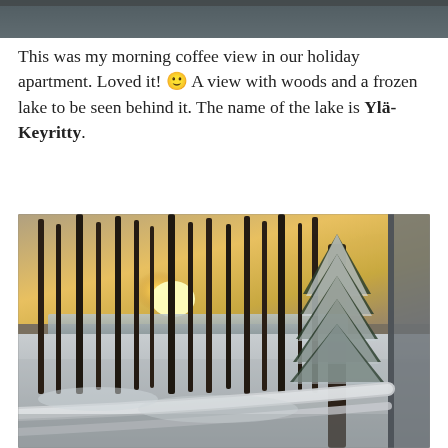[Figure (photo): Top portion of a photo, showing the upper edge of a scene, partially cropped.]
This was my morning coffee view in our holiday apartment. Loved it! 🙂 A view with woods and a frozen lake to be seen behind it. The name of the lake is Ylä-Keyritty.
[Figure (photo): Winter landscape photo taken from an apartment balcony. Shows tall pine trees with snow on the ground, a frozen lake visible in the background through the trees, with a warm sunset/sunrise glow. A snow-covered evergreen tree is prominently visible on the right side, and a white balcony railing runs diagonally across the lower portion.]